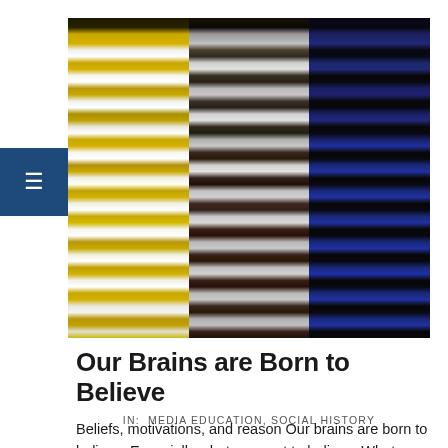[Figure (photo): Three side-by-side photos of the same dress: left shows dress appearing gold and white, center shows it appearing white and black/brown, right shows it appearing blue and black.]
Our Brains are Born to Believe
IN:  MEDIA EDUCATION, SOCIAL HISTORY
Beliefs, motivations, and reason Our brains are born to believe. Especially what we want to believe. What